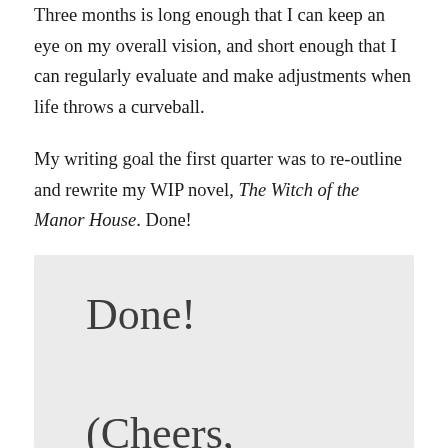Three months is long enough that I can keep an eye on my overall vision, and short enough that I can regularly evaluate and make adjustments when life throws a curveball.
My writing goal the first quarter was to re-outline and rewrite my WIP novel, The Witch of the Manor House. Done!
Done!

(Cheers,

yodels, and